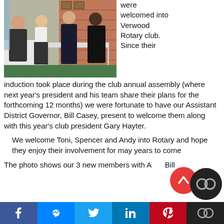[Figure (photo): Photo of four people standing indoors in front of a brick wall, likely at the Verwood Rotary club induction event.]
were welcomed into Verwood Rotary club. Since their induction took place during the club annual assembly (where next year's president and his team share their plans for the forthcoming 12 months) we were fortunate to have our Assistant District Governor, Bill Casey, present to welcome them along with this year's club president Gary Hayter.
We welcome Toni, Spencer and Andy into Rotary and hope they enjoy their involvement for may years to come
The photo shows our 3 new members with ADG Bill
f  [messenger]  t  in  p  [co]